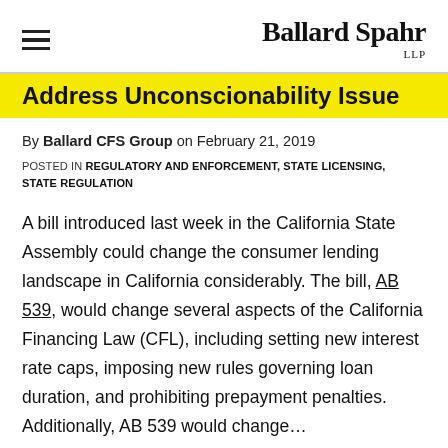Ballard Spahr LLP
Address Unconscionability Issue
By Ballard CFS Group on February 21, 2019
POSTED IN REGULATORY AND ENFORCEMENT, STATE LICENSING, STATE REGULATION
A bill introduced last week in the California State Assembly could change the consumer lending landscape in California considerably. The bill, AB 539, would change several aspects of the California Financing Law (CFL), including setting new interest rate caps, imposing new rules governing loan duration, and prohibiting prepayment penalties. Additionally, AB 539 would change...